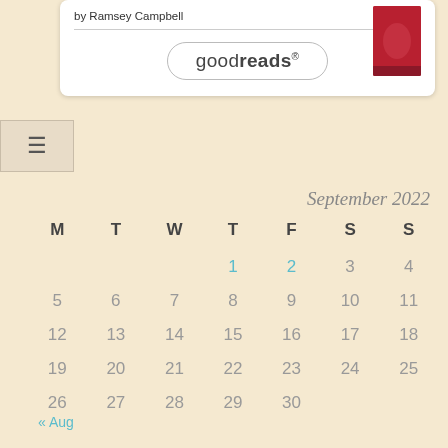by Ramsey Campbell
[Figure (screenshot): Goodreads widget with book thumbnail showing a red cover, author name 'by Ramsey Campbell', and a Goodreads button]
[Figure (other): Hamburger menu icon (three horizontal lines)]
September 2022
| M | T | W | T | F | S | S |
| --- | --- | --- | --- | --- | --- | --- |
|  |  |  | 1 | 2 | 3 | 4 |
| 5 | 6 | 7 | 8 | 9 | 10 | 11 |
| 12 | 13 | 14 | 15 | 16 | 17 | 18 |
| 19 | 20 | 21 | 22 | 23 | 24 | 25 |
| 26 | 27 | 28 | 29 | 30 |  |  |
« Aug